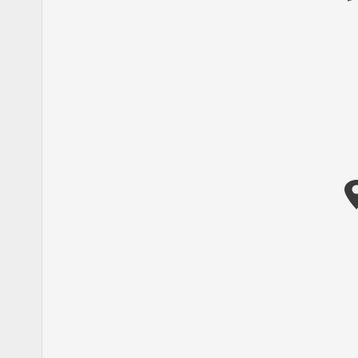[Figure (map): A map screenshot showing a location pin marker on the left side, with vertically rendered text reading 'Wilson Road, Harlingen, TX' displayed character by character in a vertical column to the right of the pin.]